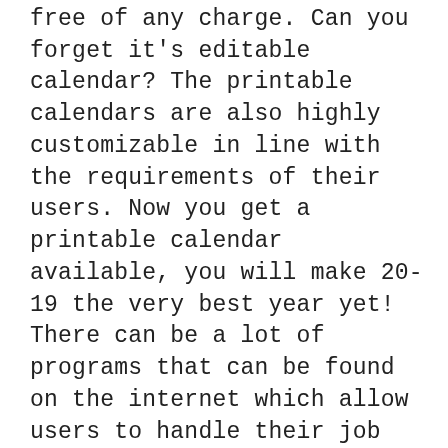free of any charge. Can you forget it's editable calendar? The printable calendars are also highly customizable in line with the requirements of their users. Now you get a printable calendar available, you will make 20-19 the very best year yet! There can be a lot of programs that can be found on the internet which allow users to handle their job pursuits but each one these are paid. September Calendar 2018 Printable Use of September 2018 Monthly CalendarTemplate will provide you with an eclectic format to yield a wonderful calendar. The most significant advantage of calendars is that they may be used by anybody. The terrific benefit of having a calendar is that you may simply take its print-out also after which begin doing tasks based upon your own want to create efficient outcomes. Apart from that, you have the choice to pick your week starts from Sunday or Monday. The